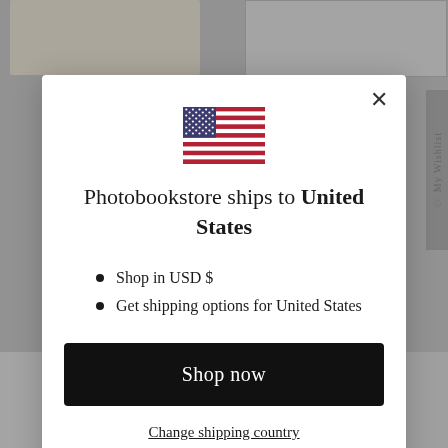[Figure (screenshot): Background of an e-commerce website showing book product thumbnails and a 'My Wishlist' sidebar tab]
[Figure (illustration): US flag SVG used inside a shipping country selection modal dialog]
Photobookstore ships to United States
Shop in USD $
Get shipping options for United States
Shop now
Change shipping country
VANESSA WINSHIP £50.00
VANESSA WINSHIP £42.00